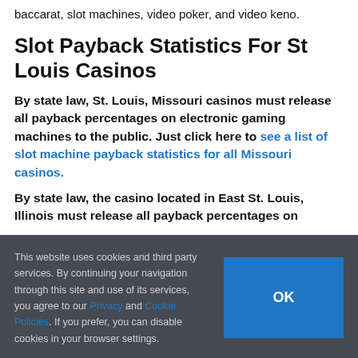baccarat, slot machines, video poker, and video keno.
Slot Payback Statistics For St Louis Casinos
By state law, St. Louis, Missouri casinos must release all payback percentages on electronic gaming machines to the public. Just click here to see a list of slot machine payback statistics for all Missouri casinos.
By state law, the casino located in East St. Louis, Illinois must release all payback percentages on
This website uses cookies and third party services. By continuing your navigation through this site and use of its services, you agree to our Privacy and Cookie Policies. If you prefer, you can disable cookies in your browser settings.